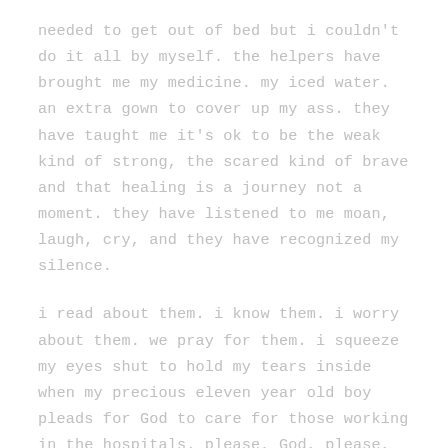needed to get out of bed but i couldn't do it all by myself. the helpers have brought me my medicine. my iced water. an extra gown to cover up my ass. they have taught me it's ok to be the weak kind of strong, the scared kind of brave and that healing is a journey not a moment. they have listened to me moan, laugh, cry, and they have recognized my silence.
i read about them. i know them. i worry about them. we pray for them. i squeeze my eyes shut to hold my tears inside when my precious eleven year old boy pleads for God to care for those working in the hospitals. please, God, please, hear his heartfelt prayer. please make this all end soon. please help us all to do our part. give us the courage, the strength, the love and place your